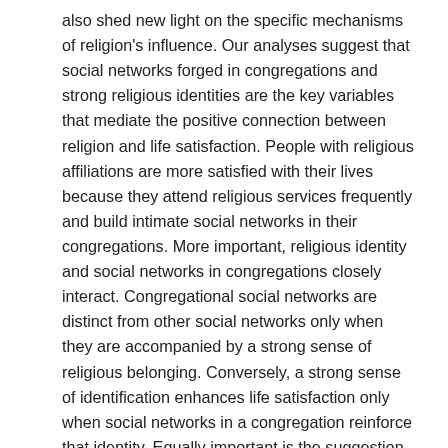also shed new light on the specific mechanisms of religion's influence. Our analyses suggest that social networks forged in congregations and strong religious identities are the key variables that mediate the positive connection between religion and life satisfaction. People with religious affiliations are more satisfied with their lives because they attend religious services frequently and build intimate social networks in their congregations. More important, religious identity and social networks in congregations closely interact. Congregational social networks are distinct from other social networks only when they are accompanied by a strong sense of religious belonging. Conversely, a strong sense of identification enhances life satisfaction only when social networks in a congregation reinforce that identity. Equally important is the suggestion that private and subjective dimensions of religiosity are not significantly related to life satisfaction once religious service